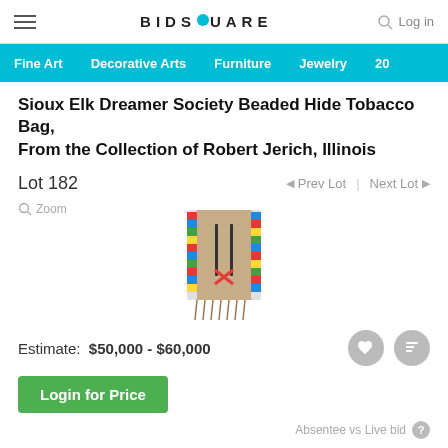BIDSQUARE  Log in
Fine Art  Decorative Arts  Furniture  Jewelry  20
Sioux Elk Dreamer Society Beaded Hide Tobacco Bag, From the Collection of Robert Jerich, Illinois
Lot 182
Prev Lot  |  Next Lot
Zoom
[Figure (photo): A Sioux beaded hide tobacco bag with colorful beadwork on the sides and fringe at the bottom, displayed vertically against a white background.]
Estimate:  $50,000 - $60,000
Login for Price
Absentee vs Live bid  ?